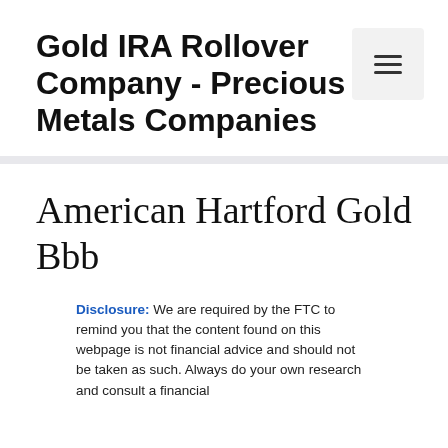Gold IRA Rollover Company - Precious Metals Companies
American Hartford Gold Bbb
Disclosure: We are required by the FTC to remind you that the content found on this webpage is not financial advice and should not be taken as such. Always do your own research and consult a financial